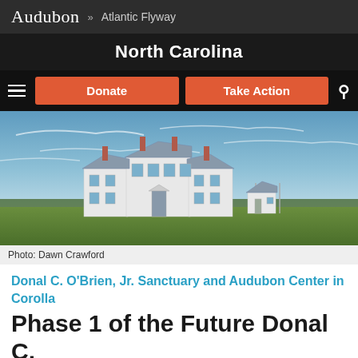Audubon » Atlantic Flyway
North Carolina
Donate   Take Action
[Figure (photo): Exterior photo of a large white colonial-style house with multiple chimneys, set on a green lawn under a partly cloudy blue sky. A small white outbuilding is visible to the right.]
Photo: Dawn Crawford
Donal C. O'Brien, Jr. Sanctuary and Audubon Center in Corolla
Phase 1 of the Future Donal C.